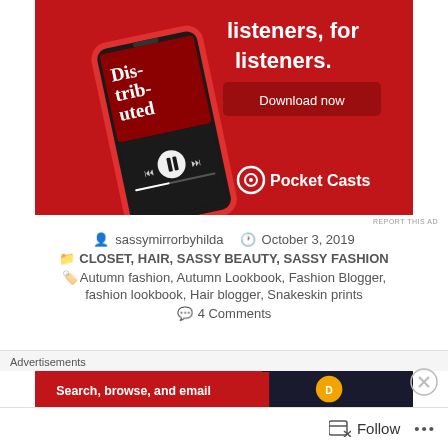[Figure (advertisement): Pocket Casts app advertisement on red background showing a smartphone with podcast app open and text 'listeners, for listeners.' with a Download now button and Pocket Casts logo]
REPORT THIS AD
sassymirrorbyhilda   October 3, 2019
CLOSET, HAIR, SASSY BEAUTY, SASSY FASHION
Autumn fashion, Autumn Lookbook, Fashion Blogger, fashion lookbook, Hair blogger, Snakeskin prints
4 Comments
Advertisements
[Figure (advertisement): Bottom advertisement banner showing 'Search, browse, and email' text on orange/red background with duck duck go style logo]
Follow   •••